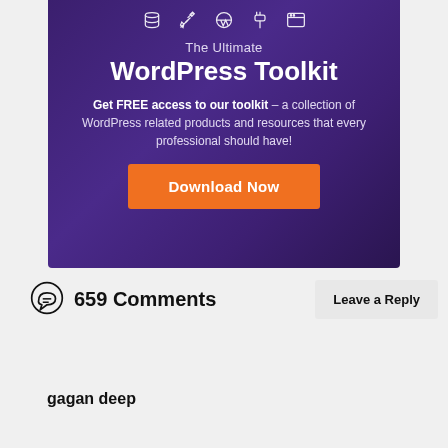[Figure (infographic): Purple gradient banner with icons at top, titled 'The Ultimate WordPress Toolkit', with description text and an orange Download Now button]
659 Comments
Leave a Reply
gagan deep